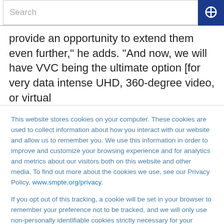Search
provide an opportunity to extend them even further,” he adds. “And now, we will have VVC being the ultimate option [for very data intense UHD, 360-degree video, or virtual
This website stores cookies on your computer. These cookies are used to collect information about how you interact with our website and allow us to remember you. We use this information in order to improve and customize your browsing experience and for analytics and metrics about our visitors both on this website and other media. To find out more about the cookies we use, see our Privacy Policy, www.smpte.org/privacy.

If you opt out of this tracking, a cookie will be set in your browser to remember your preference not to be tracked, and we will only use non-personally identifiable cookies strictly necessary for your SMPTE site experience.
Accept
Decline